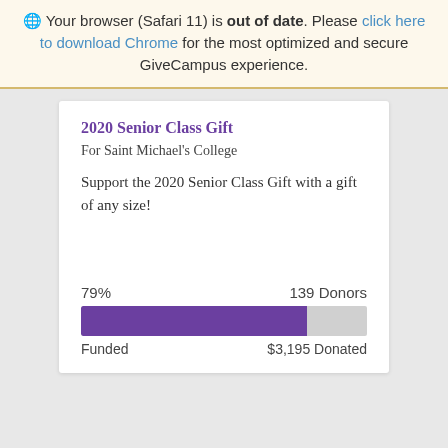🌐 Your browser (Safari 11) is out of date. Please click here to download Chrome for the most optimized and secure GiveCampus experience.
2020 Senior Class Gift
For Saint Michael's College
Support the 2020 Senior Class Gift with a gift of any size!
[Figure (other): Progress bar showing 79% funded, purple fill, with stats: 79% funded, 139 Donors, $3,195 Donated]